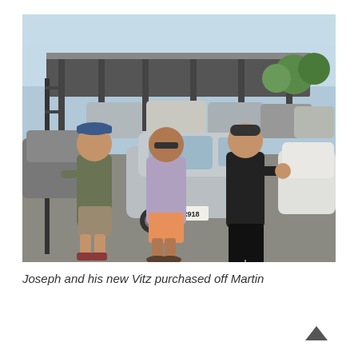[Figure (photo): Three people standing in front of a silver Toyota Vitz with license plate LER918 at a car dealership lot. The man on the left wears a cap and olive t-shirt, the woman in the middle wears a purple top and salmon pants, and the man on the right wears a black polo shirt giving a thumbs up. Rows of cars and a dealership building are visible in the background.]
Joseph and his new Vitz purchased off Martin